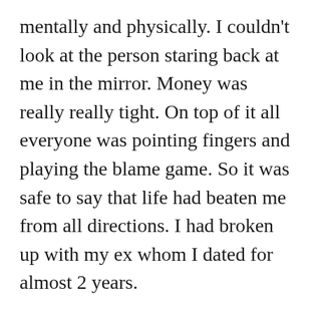mentally and physically. I couldn't look at the person staring back at me in the mirror. Money was really really tight. On top of it all everyone was pointing fingers and playing the blame game. So it was safe to say that life had beaten me from all directions. I had broken up with my ex whom I dated for almost 2 years.
I never thought that my life would have turned out the way it did, but that is the thing about life. Anything could happen. As I was all by myself in that dark tunnel, I had found a flickering beat inside my heart that was not ready to give up on the silver lining. So that was when I decided to turn to the law of attraction. I decided to